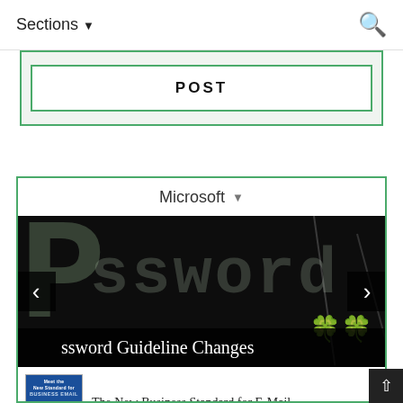Sections ▾
POST
Microsoft ▾
[Figure (photo): Dark background image with pixelated 'password' text in green/gray, with navigation arrows and overlay title 'ssword Guideline Changes']
ssword Guideline Changes
The New Business Standard for E-Mail